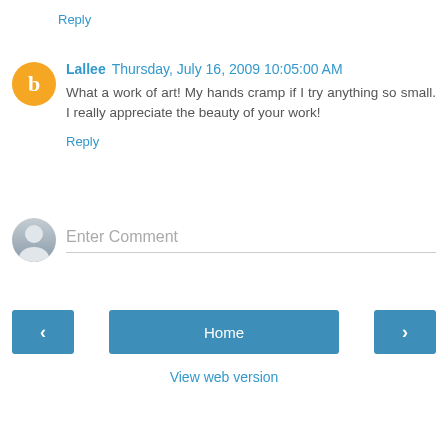Reply
Lallee  Thursday, July 16, 2009 10:05:00 AM
What a work of art! My hands cramp if I try anything so small. I really appreciate the beauty of your work!
Reply
Enter Comment
Home
View web version